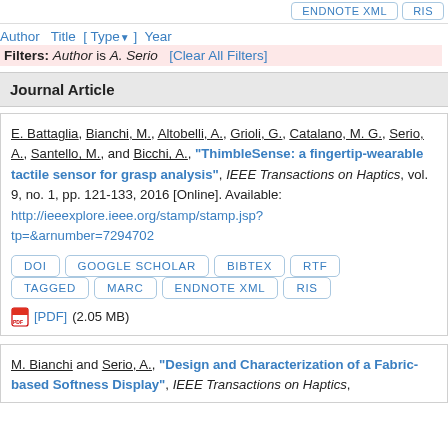ENDNOTE XML   RIS
Author Title [ Type ] Year
Filters: Author is A. Serio  [Clear All Filters]
Journal Article
E. Battaglia, Bianchi, M., Altobelli, A., Grioli, G., Catalano, M. G., Serio, A., Santello, M., and Bicchi, A., "ThimbleSense: a fingertip-wearable tactile sensor for grasp analysis", IEEE Transactions on Haptics, vol. 9, no. 1, pp. 121-133, 2016 [Online]. Available: http://ieeexplore.ieee.org/stamp/stamp.jsp?tp=&arnumber=7294702
DOI  GOOGLE SCHOLAR  BIBTEX  RTF  TAGGED  MARC  ENDNOTE XML  RIS
[PDF] (2.05 MB)
M. Bianchi and Serio, A., "Design and Characterization of a Fabric-based Softness Display", IEEE Transactions on Haptics,